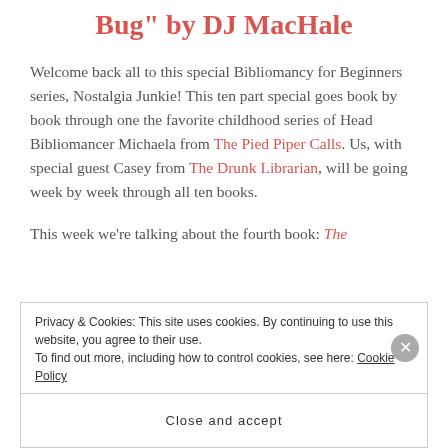Bug" by DJ MacHale
Welcome back all to this special Bibliomancy for Beginners series, Nostalgia Junkie! This ten part special goes book by book through one the favorite childhood series of Head Bibliomancer Michaela from The Pied Piper Calls. Us, with special guest Casey from The Drunk Librarian, will be going week by week through all ten books.
This week we’re talking about the fourth book: The
Privacy & Cookies: This site uses cookies. By continuing to use this website, you agree to their use.
To find out more, including how to control cookies, see here: Cookie Policy
Close and accept